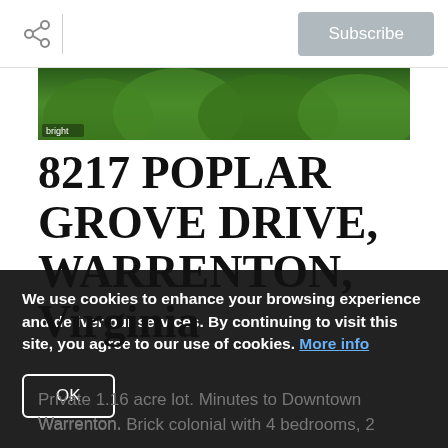Subscribe
[Figure (photo): Aerial or close-up view of green foliage/trees with a 'bright' watermark label in the bottom-left corner]
8217 POPLAR GROVE DRIVE, WARRENTON, Virginia
Private 1.16 acre lot. Minutes to Downtown Warrenton. Brick colonial with 4 bedrooms, 2...
We use cookies to enhance your browsing experience and deliver our services. By continuing to visit this site, you agree to our use of cookies. More info
OK